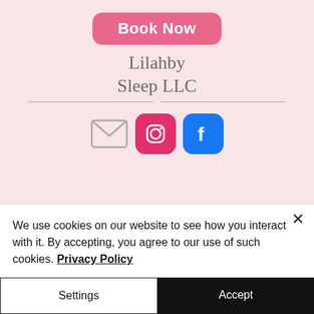[Figure (screenshot): Book Now button - pink rounded rectangle with white bold text]
Lilahby Sleep LLC
[Figure (other): Social media icons: email/mail icon (grey envelope), Instagram icon (pink rounded square), Facebook icon (blue rounded square)]
Privacy Policy
Terms of Use
NOT MEDICAL ADVICE DISCLAIMER: The content of Lilahby Sleep LLC website, posts, and
We use cookies on our website to see how you interact with it. By accepting, you agree to our use of such cookies. Privacy Policy
Settings
Accept